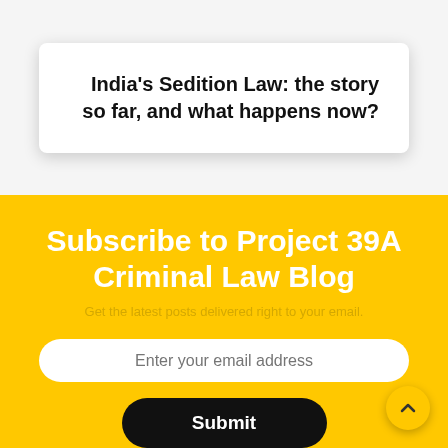India's Sedition Law: the story so far, and what happens now?
Subscribe to Project 39A Criminal Law Blog
Get the latest posts delivered right to your email.